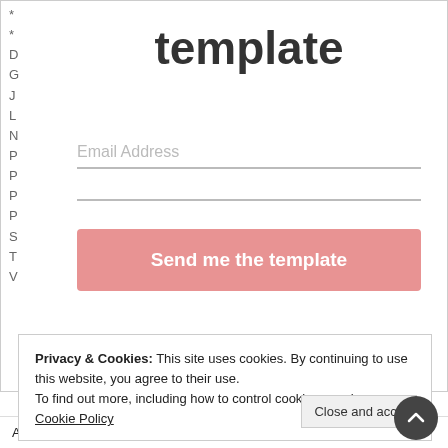template
Email Address
Send me the template
Privacy & Cookies: This site uses cookies. By continuing to use this website, you agree to their use.
To find out more, including how to control cookies, see here: Cookie Policy
Close and acce
A poem of encouragement.